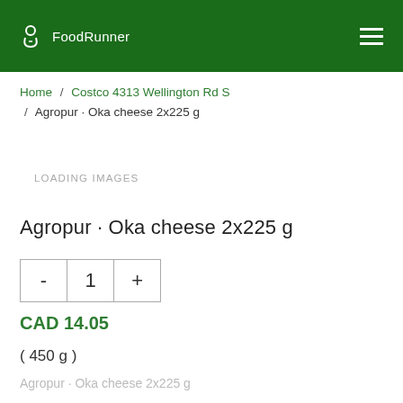FoodRunner
Home / Costco 4313 Wellington Rd S / Agropur · Oka cheese 2x225 g
LOADING IMAGES
Agropur · Oka cheese 2x225 g
- 1 +
CAD 14.05
( 450 g )
Agropur · Oka cheese 2x225 g